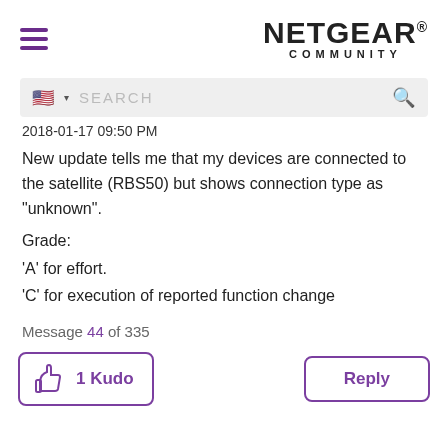NETGEAR COMMUNITY
2018-01-17 09:50 PM
New update tells me that my devices are connected to the satellite (RBS50) but shows connection type as "unknown".
Grade:
'A' for effort.
'C' for execution of reported function change
Message 44 of 335
1 Kudo
Reply